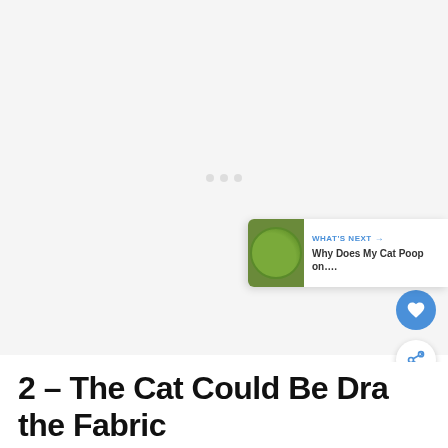[Figure (photo): Large image placeholder area with loading dots, light gray background]
2 – The Cat Could Be Dragging the Fabric